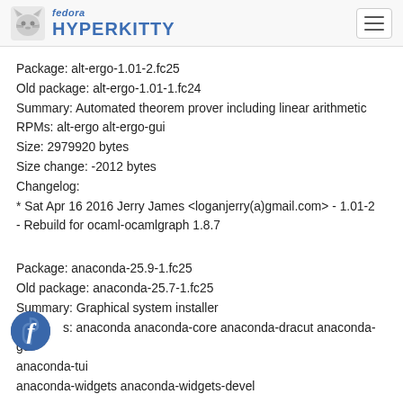fedora HYPERKITTY
Package: alt-ergo-1.01-2.fc25
Old package: alt-ergo-1.01-1.fc24
Summary: Automated theorem prover including linear arithmetic
RPMs: alt-ergo alt-ergo-gui
Size: 2979920 bytes
Size change: -2012 bytes
Changelog:
* Sat Apr 16 2016 Jerry James <loganjerry(a)gmail.com&gt; - 1.01-2
- Rebuild for ocaml-ocamlgraph 1.8.7
Package: anaconda-25.9-1.fc25
Old package: anaconda-25.7-1.fc25
Summary: Graphical system installer
RPMs: anaconda anaconda-core anaconda-dracut anaconda-gui anaconda-tui
anaconda-widgets anaconda-widgets-devel